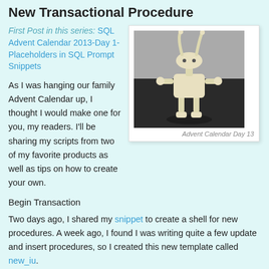New Transactional Procedure
First Post in this series: SQL Advent Calendar 2013-Day 1-Placeholders in SQL Prompt Snippets
[Figure (photo): Photo of a wooden articulated rabbit/robot figure on a dark surface. Caption reads: Advent Calendar Day 13]
Advent Calendar Day 13
As I was hanging our family Advent Calendar up, I thought I would make one for you, my readers. I'll be sharing my scripts from two of my favorite products as well as tips on how to create your own.
Begin Transaction
Two days ago, I shared my snippet to create a shell for new procedures. A week ago, I found I was writing quite a few update and insert procedures, so I created this new template called new_iu.
The procedures I'm creating are called by an application, so the template I created provides the following:
Begin and End Tran